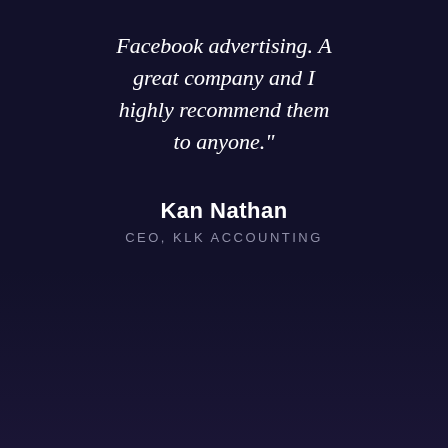Facebook advertising. A great company and I highly recommend them to anyone."
Kan Nathan
CEO, KLK ACCOUNTING